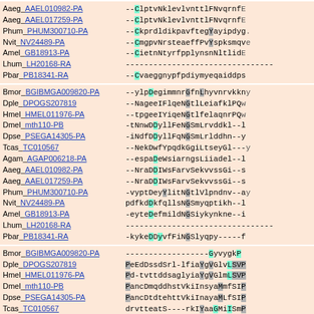[Figure (other): Multiple sequence alignment showing protein sequences from various insect species (Aaeg, Phum, Nvit, Amel, Lhum, Pbar, Bmor, Dple, Hmel, Dmel, Dpse, Tcas, Agam) with gene identifiers as hyperlinks. Three alignment blocks shown with highlighted conserved residues in cyan and gray.]